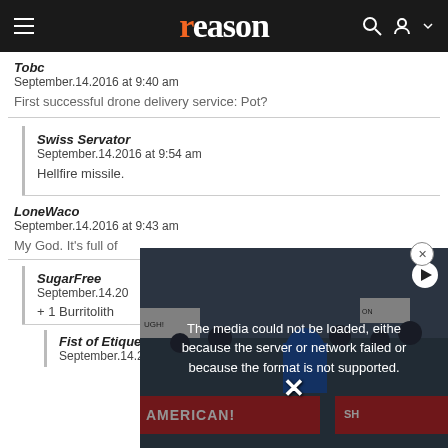reason
Tobc
September.14.2016 at 9:40 am
First successful drone delivery service: Pot?
Swiss Servator
September.14.2016 at 9:54 am
Hellfire missile.
LoneWaco
September.14.2016 at 9:43 am
My God. It's full of
SugarFree
September.14.2016
+ 1 Burritolith
Fist of Etique
September.14.2016 at 10:38 am
[Figure (photo): Video overlay showing protest photo with 'AMERICAN!' banner text and media error message: The media could not be loaded, either because the server or network failed or because the format is not supported.]